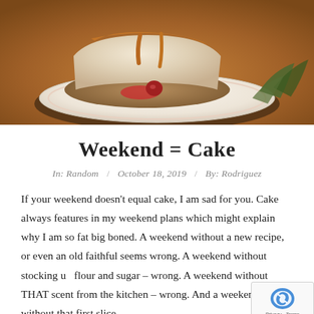[Figure (photo): A slice of cheesecake with caramel/strawberry sauce on a decorative white plate, with greenery in the background on a wooden surface.]
Weekend = Cake
In: Random / October 18, 2019 / By: Rodriguez
If your weekend doesn't equal cake, I am sad for you. Cake always features in my weekend plans which might explain why I am so fat big boned. A weekend without a new recipe, or even an old faithful seems wrong. A weekend without stocking up flour and sugar – wrong. A weekend without THAT scent from the kitchen – wrong. And a weekend without that first slice